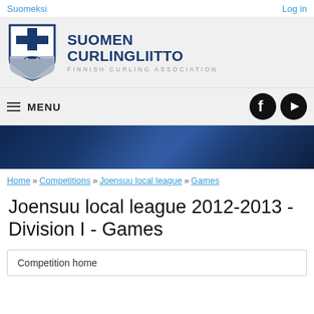Suomeksi | Log in
[Figure (logo): Suomen Curlingliitto - Finnish Curling Association logo with shield]
MENU
[Figure (illustration): Dark blue hero banner image]
Home » Competitions » Joensuu local league » Games
Joensuu local league 2012-2013 - Division I - Games
Competition home